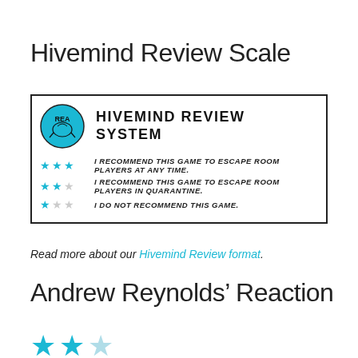Hivemind Review Scale
[Figure (infographic): Hivemind Review System box with logo and three star rating levels: 3 stars = I recommend this game to escape room players at any time; 2 stars = I recommend this game to escape room players in quarantine; 1 star = I do not recommend this game.]
Read more about our Hivemind Review format.
Andrew Reynolds’ Reaction
[Figure (infographic): Two filled cyan stars and one faded/empty cyan star rating]